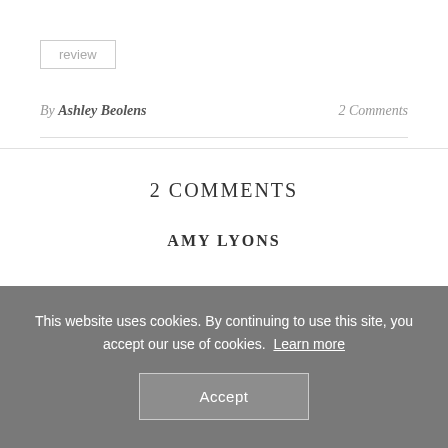review
By Ashley Beolens   2 Comments
2 COMMENTS
AMY LYONS
This website uses cookies. By continuing to use this site, you accept our use of cookies. Learn more
Accept